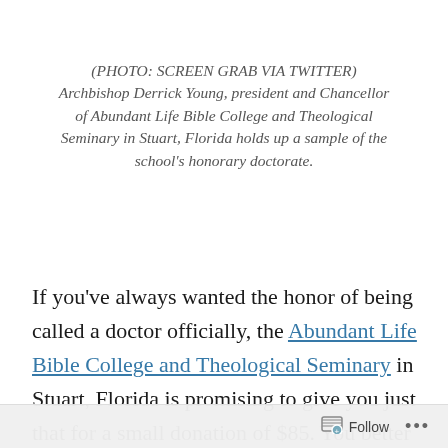(PHOTO: SCREEN GRAB VIA TWITTER) Archbishop Derrick Young, president and Chancellor of Abundant Life Bible College and Theological Seminary in Stuart, Florida holds up a sample of the school's honorary doctorate.
If you've always wanted the honor of being called a doctor officially, the Abundant Life Bible College and Theological Seminary in Stuart, Florida is promising to give you just that for a small donation of $85. You better hurry